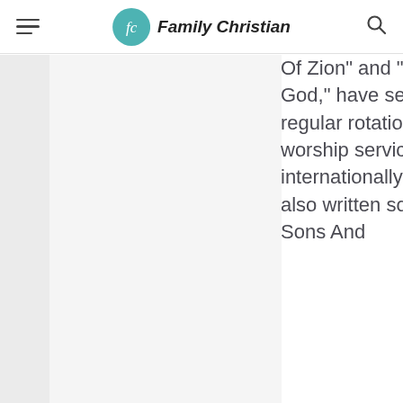Family Christian
Of Zion” and “Thy Mercy My God,” have settled into regular rotation in Christian worship services internationally, and she has also written songs for All Sons And